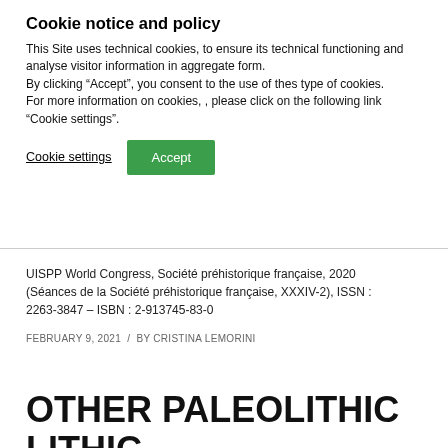Cookie notice and policy
This Site uses technical cookies, to ensure its technical functioning and analyse visitor information in aggregate form.
By clicking “Accept”, you consent to the use of thes type of cookies.
For more information on cookies, , please click on the following link “Cookie settings”.
Cookie settings   Accept
UISPP World Congress, Société préhistorique française, 2020 (Séances de la Société préhistorique française, XXXIV-2), ISSN : 2263-3847 – ISBN : 2-913745-83-0
FEBRUARY 9, 2021 / BY CRISTINA LEMORINI
OTHER PALEOLITHIC LITHIC